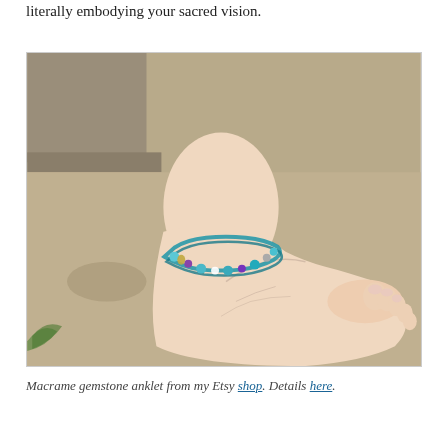literally embodying your sacred vision.
[Figure (photo): A bare foot and ankle resting on a stone surface, wearing a colorful macrame gemstone anklet with teal, purple, and white beads.]
Macrame gemstone anklet from my Etsy shop. Details here.